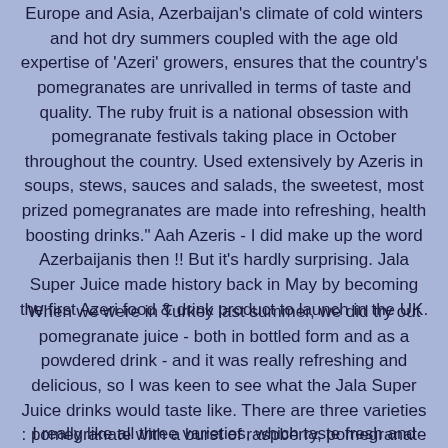Europe and Asia, Azerbaijan's climate of cold winters and hot dry summers coupled with the age old expertise of 'Azeri' growers, ensures that the country's pomegranates are unrivalled in terms of taste and quality. The ruby fruit is a national obsession with pomegranate festivals taking place in October throughout the country. Used extensively by Azeris in soups, stews, sauces and salads, the sweetest, most prized pomegranates are made into refreshing, health boosting drinks." Aah Azeris - I did make up the word Azerbaijanis then !! But it's hardly surprising. Jala Super Juice made history back in May by becoming the first Azeri food & drink product to launch in the UK.
When we were in Turkey last summer, we did try out pomegranate juice - both in bottled form and as a powdered drink - and it was really refreshing and delicious, so I was keen to see what the Jala Super Juice drinks would taste like. There are three varieties : pomegranate with a burst of raspberry, pomegranate with a squeeze of orange and pomegranate with a splash of strawberry.
I really like all three varieties, which taste fresh and natural and have the added bonus of mentally transporting me to